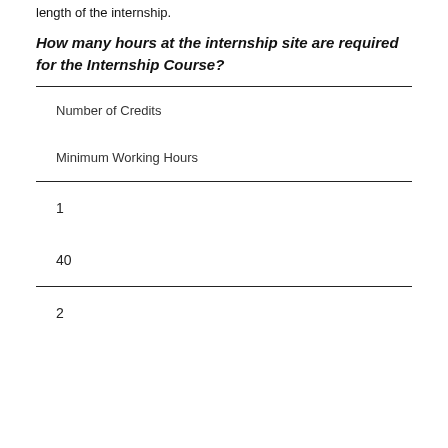length of the internship.
How many hours at the internship site are required for the Internship Course?
| Number of Credits | Minimum Working Hours |
| --- | --- |
| 1 | 40 |
| 2 |  |